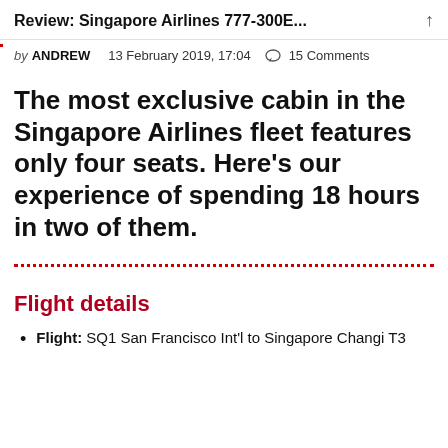Review: Singapore Airlines 777-300E...
by ANDREW   13 February 2019, 17:04   ○ 15 Comments
The most exclusive cabin in the Singapore Airlines fleet features only four seats. Here's our experience of spending 18 hours in two of them.
Flight details
Flight: SQ1 San Francisco Int'l to Singapore Changi T3